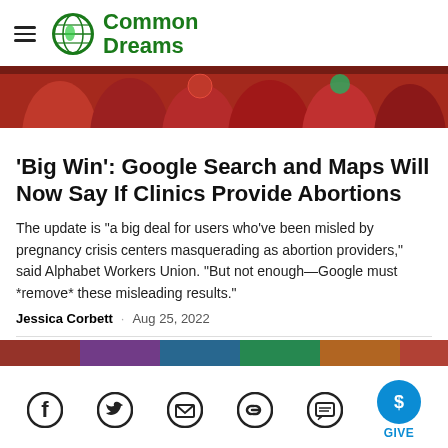Common Dreams
[Figure (photo): People wearing red shirts at a protest/march, cropped to show upper bodies]
'Big Win': Google Search and Maps Will Now Say If Clinics Provide Abortions
The update is "a big deal for users who've been misled by pregnancy crisis centers masquerading as abortion providers," said Alphabet Workers Union. "But not enough—Google must *remove* these misleading results."
Jessica Corbett · Aug 25, 2022
[Figure (photo): Second image partially visible at bottom — colorful crowd scene]
Social share icons: Facebook, Twitter, Email, Link, Comment, Give